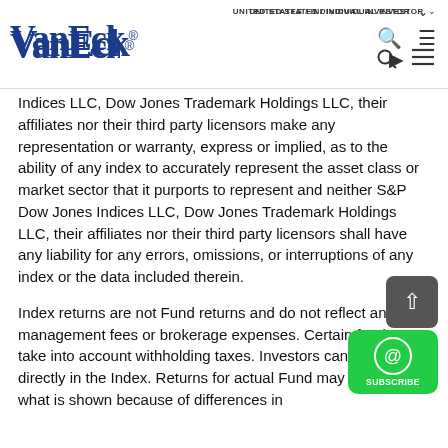VanEck® — UNITED STATES / INDIVIDUAL INVESTOR
Indices LLC, Dow Jones Trademark Holdings LLC, their affiliates nor their third party licensors make any representation or warranty, express or implied, as to the ability of any index to accurately represent the asset class or market sector that it purports to represent and neither S&P Dow Jones Indices LLC, Dow Jones Trademark Holdings LLC, their affiliates nor their third party licensors shall have any liability for any errors, omissions, or interruptions of any index or the data included therein.
Index returns are not Fund returns and do not reflect any management fees or brokerage expenses. Certain funds may take into account withholding taxes. Investors cannot invest directly in the Index. Returns for actual Fund may differ from what is shown because of differences in